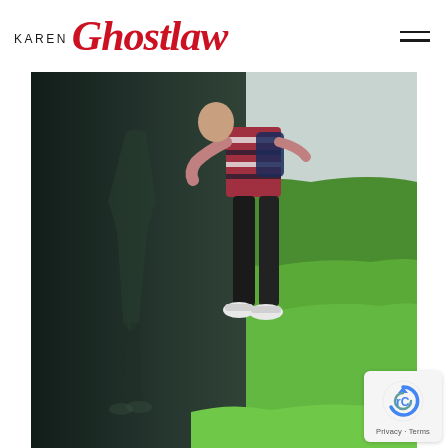KAREN Ghostlaw
[Figure (photo): A person in a striped red and white top and black leggings standing on bright green grass, leaning against or looking at a large dark reflective surface (possibly a wall or vehicle). Their reflection is visible in the dark surface. The person wears white sneakers. Background is overcast sky and green hills.]
[Figure (logo): reCAPTCHA badge showing the reCAPTCHA logo (circular arrow icon in blue/grey) and text 'Privacy - Terms']